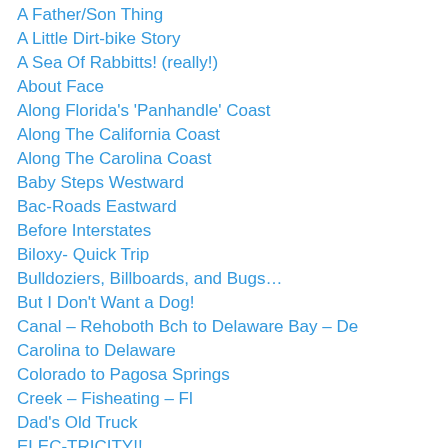A Father/Son Thing
A Little Dirt-bike Story
A Sea Of Rabbitts! (really!)
About Face
Along Florida's 'Panhandle' Coast
Along The California Coast
Along The Carolina Coast
Baby Steps Westward
Bac-Roads Eastward
Before Interstates
Biloxy- Quick Trip
Bulldoziers, Billboards, and Bugs…
But I Don't Want a Dog!
Canal – Rehoboth Bch to Delaware Bay – De
Carolina to Delaware
Colorado to Pagosa Springs
Creek – Fisheating – Fl
Dad's Old Truck
ELEC-TRICITY!!
Florida Sandspurs